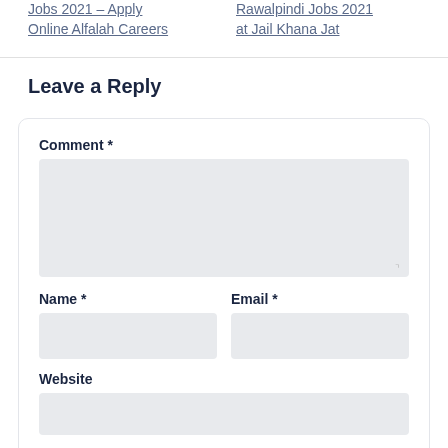Jobs 2021 – Apply Online Alfalah Careers
Rawalpindi Jobs 2021 at Jail Khana Jat
Leave a Reply
Comment *
Name *
Email *
Website
Save my name, email, and website in this browser